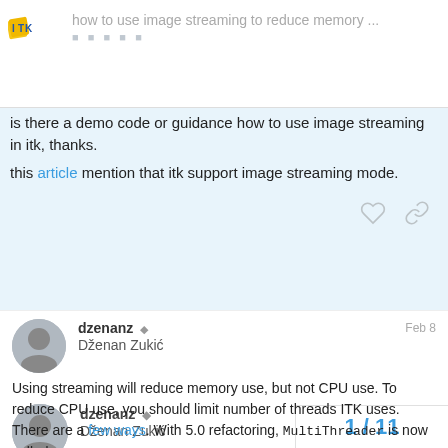how to use image streaming to reduce memory ...
is there a demo code or guidance how to use image streaming in itk, thanks.
this article mention that itk support image streaming mode.
created Feb 8   last reply Feb 17   10 replies
dzenanz  Dženan Zukić   Feb 8
Using streaming will reduce memory use, but not CPU use. To reduce CPU use, you should limit number of threads ITK uses. There are a few ways. With 5.0 refactoring, MultiThreader is now called MultiThreaderBase.

Here is how to use streaming:
1 / 11